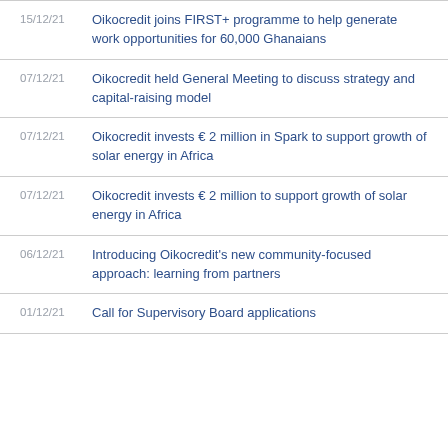15/12/21 — Oikocredit joins FIRST+ programme to help generate work opportunities for 60,000 Ghanaians
07/12/21 — Oikocredit held General Meeting to discuss strategy and capital-raising model
07/12/21 — Oikocredit invests € 2 million in Spark to support growth of solar energy in Africa
07/12/21 — Oikocredit invests € 2 million to support growth of solar energy in Africa
06/12/21 — Introducing Oikocredit's new community-focused approach: learning from partners
01/12/21 — Call for Supervisory Board applications